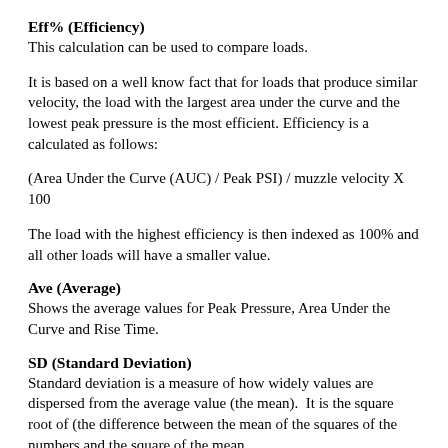Eff% (Efficiency)
This calculation can be used to compare loads.
It is based on a well know fact that for loads that produce similar velocity, the load with the largest area under the curve and the lowest peak pressure is the most efficient. Efficiency is a calculated as follows:
(Area Under the Curve (AUC) / Peak PSI) / muzzle velocity X 100
The load with the highest efficiency is then indexed as 100% and all other loads will have a smaller value.
Ave (Average)
Shows the average values for Peak Pressure, Area Under the Curve and Rise Time.
SD (Standard Deviation)
Standard deviation is a measure of how widely values are dispersed from the average value (the mean).  It is the square root of (the difference between the mean of the squares of the numbers and the square of the mean.
95%Prob (95% Probability)